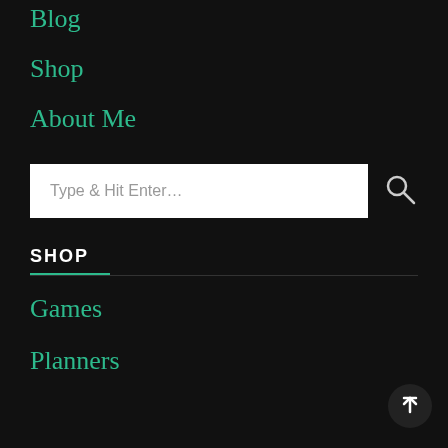Blog
Shop
About Me
Type & Hit Enter…
SHOP
Games
Planners